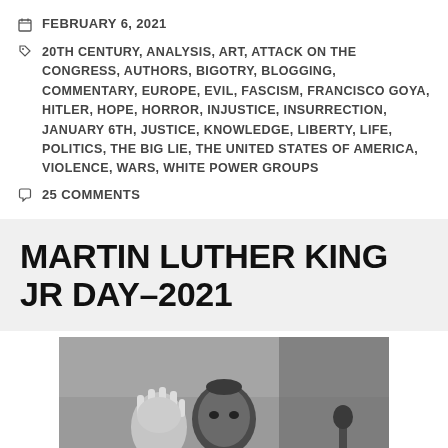FEBRUARY 6, 2021
20TH CENTURY, ANALYSIS, ART, ATTACK ON THE CONGRESS, AUTHORS, BIGOTRY, BLOGGING, COMMENTARY, EUROPE, EVIL, FASCISM, FRANCISCO GOYA, HITLER, HOPE, HORROR, INJUSTICE, INSURRECTION, JANUARY 6TH, JUSTICE, KNOWLEDGE, LIBERTY, LIFE, POLITICS, THE BIG LIE, THE UNITED STATES OF AMERICA, VIOLENCE, WARS, WHITE POWER GROUPS
25 COMMENTS
MARTIN LUTHER KING JR DAY–2021
[Figure (photo): Black and white photograph of Martin Luther King Jr. raising his hand, partially cropped, with a dark background]